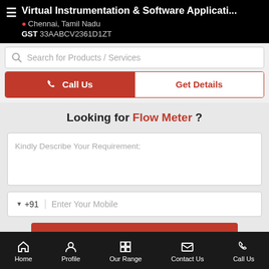Virtual Instrumentation & Software Applicati...
Chennai, Tamil Nadu
GST 33AABCV2361D1ZT
Search for Products / Services
Call Us | Get Details
Looking for Flow Meter ?
Kindly Describe Your Requirement:
+91 Enter Your Mobile
Home | Profile | Our Range | Contact Us | Call Us